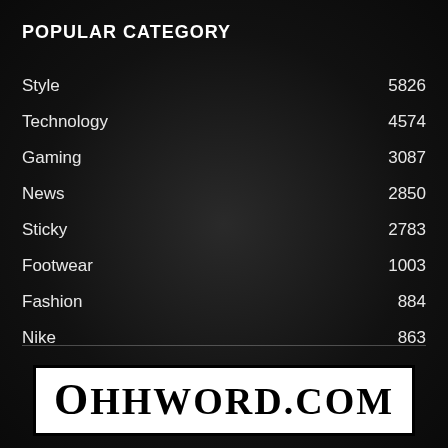POPULAR CATEGORY
Style    5826
Technology    4574
Gaming    3087
News    2850
Sticky    2783
Footwear    1003
Fashion    884
Nike    863
[Figure (logo): Ohhword.com logo in bold serif font on white background]